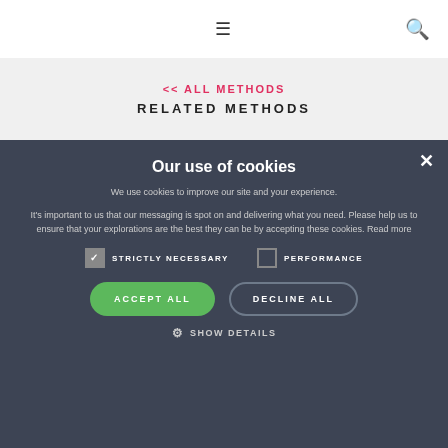≡  🔍
<< ALL METHODS
RELATED METHODS
Our use of cookies
We use cookies to improve our site and your experience.
It's important to us that our messaging is spot on and delivering what you need. Please help us to ensure that your explorations are the best they can be by accepting these cookies. Read more
STRICTLY NECESSARY   PERFORMANCE
ACCEPT ALL   DECLINE ALL
⚙ SHOW DETAILS